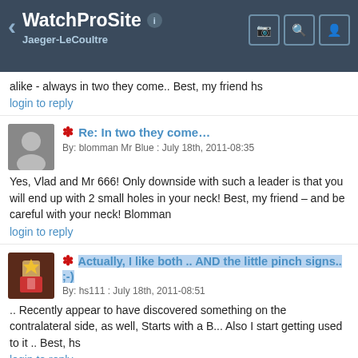WatchProSite — Jaeger-LeCoultre
alike - always in two they come.. Best, my friend hs
login to reply
Re: In two they come…
By: blomman Mr Blue : July 18th, 2011-08:35
Yes, Vlad and Mr 666! Only downside with such a leader is that you will end up with 2 small holes in your neck! Best, my friend – and be careful with your neck! Blomman
login to reply
Actually, I like both .. AND the little pinch signs.. ;-)
By: hs111 : July 18th, 2011-08:51
.. Recently appear to have discovered something on the contralateral side, as well, Starts with a B... Also I start getting used to it .. Best, hs
login to reply